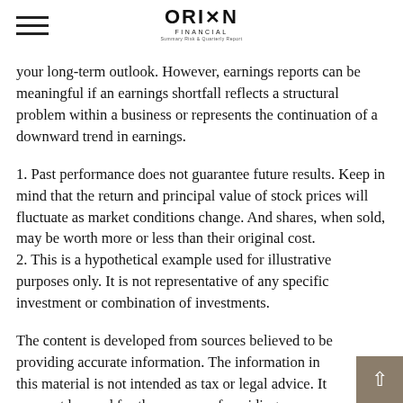ORION FINANCIAL
your long-term outlook. However, earnings reports can be meaningful if an earnings shortfall reflects a structural problem within a business or represents the continuation of a downward trend in earnings.
1. Past performance does not guarantee future results. Keep in mind that the return and principal value of stock prices will fluctuate as market conditions change. And shares, when sold, may be worth more or less than their original cost.
2. This is a hypothetical example used for illustrative purposes only. It is not representative of any specific investment or combination of investments.
The content is developed from sources believed to be providing accurate information. The information in this material is not intended as tax or legal advice. It may not be used for the purpose of avoiding any federal tax penalties. Please consult legal or professionals for specific information regarding your individual